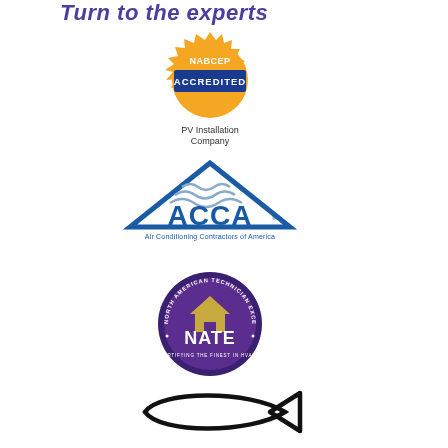Turn to the experts
[Figure (logo): NABCEP Accredited PV Installation Company logo — orange sunburst badge with blue rectangle reading ACCREDITED, below text PV Installation Company]
[Figure (logo): ACCA Air Conditioning Contractors of America logo — blue triangle with stylized waves above, ACCA in large blue letters, tagline Air Conditioning Contractors of America below]
[Figure (logo): NATE North American Technician Excellence logo — circular badge with purple background, gold house/roof icon, NATE text, surrounding text NORTH AMERICAN TECHNICIAN EXCELLENCE and CERTIFYING THE FINEST IN HVACR]
[Figure (logo): Christian ichthys fish symbol — simple black outline of a fish (ichthys)]